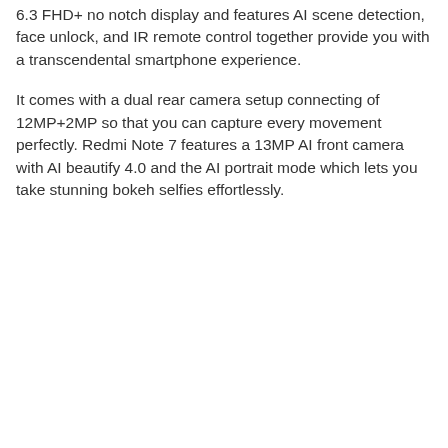6.3 FHD+ no notch display and features AI scene detection, face unlock, and IR remote control together provide you with a transcendental smartphone experience.
It comes with a dual rear camera setup connecting of 12MP+2MP so that you can capture every movement perfectly. Redmi Note 7 features a 13MP AI front camera with AI beautify 4.0 and the AI portrait mode which lets you take stunning bokeh selfies effortlessly.